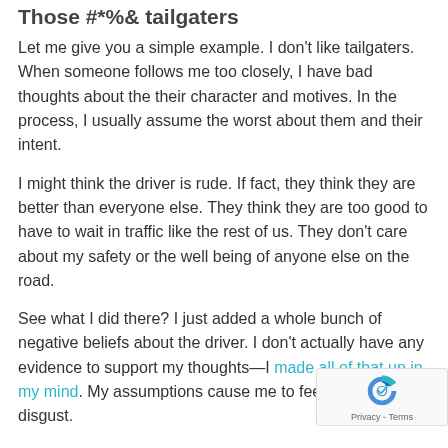Those #*%& tailgaters
Let me give you a simple example. I don't like tailgaters. When someone follows me too closely, I have bad thoughts about the their character and motives. In the process, I usually assume the worst about them and their intent.
I might think the driver is rude. If fact, they think they are better than everyone else. They think they are too good to have to wait in traffic like the rest of us. They don't care about my safety or the well being of anyone else on the road.
See what I did there? I just added a whole bunch of negative beliefs about the driver. I don't actually have any evidence to support my thoughts—I made all of that up in my mind. My assumptions cause me to feel anger and disgust.
I react by flipping them off, honking or yelling at the…